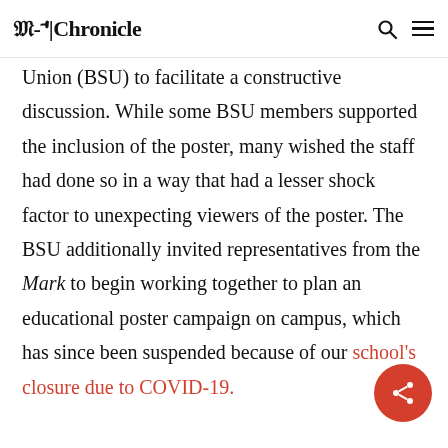M-A | Chronicle
Union (BSU) to facilitate a constructive discussion. While some BSU members supported the inclusion of the poster, many wished the staff had done so in a way that had a lesser shock factor to unexpecting viewers of the poster. The BSU additionally invited representatives from the Mark to begin working together to plan an educational poster campaign on campus, which has since been suspended because of our school's closure due to COVID-19.